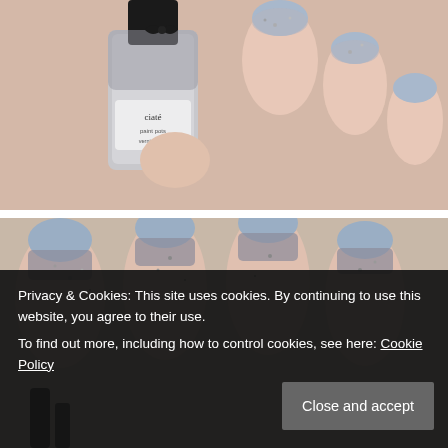[Figure (photo): Close-up photo of a hand holding a Ciate silver glitter nail polish bottle, with nails painted in light blue with silver glitter ombre effect at the tips.]
[Figure (photo): Close-up photo of a hand with nails painted in light blue with silver glitter ombre effect at the base, holding a black nail polish brush handle.]
Privacy & Cookies: This site uses cookies. By continuing to use this website, you agree to their use.
To find out more, including how to control cookies, see here: Cookie Policy
Close and accept